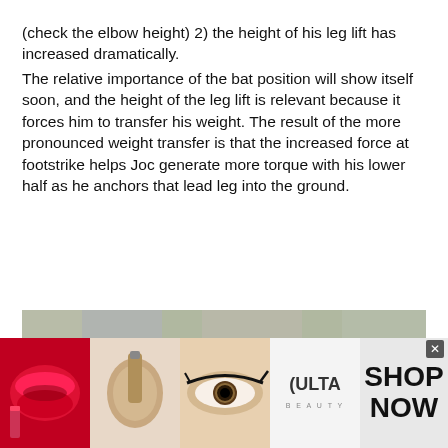(check the elbow height) 2) the height of his leg lift has increased dramatically.
The relative importance of the bat position will show itself soon, and the height of the leg lift is relevant because it forces him to transfer his weight. The result of the more pronounced weight transfer is that the increased force at footstrike helps Joc generate more torque with his lower half as he anchors that lead leg into the ground.
[Figure (photo): Baseball player mid-swing at bat, wearing blue helmet and white uniform, with a catcher visible in the background on a baseball field.]
[Figure (infographic): Ulta Beauty advertisement banner showing makeup-related images (lips, brush, eye, Ulta logo, eye close-up) with 'SHOP NOW' text on the right.]